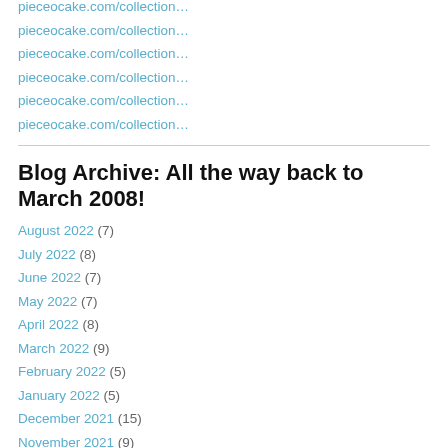pieceocake.com/collection…
pieceocake.com/collection…
pieceocake.com/collection…
pieceocake.com/collection…
pieceocake.com/collection…
pieceocake.com/collection…
Blog Archive: All the way back to March 2008!
August 2022 (7)
July 2022 (8)
June 2022 (7)
May 2022 (7)
April 2022 (8)
March 2022 (9)
February 2022 (5)
January 2022 (5)
December 2021 (15)
November 2021 (9)